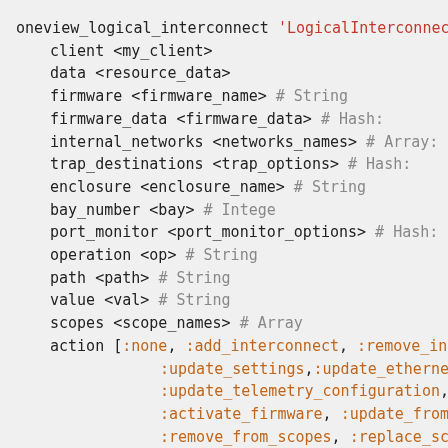oneview_logical_interconnect 'LogicalInterconnect:
  client <my_client>
  data <resource_data>
  firmware <firmware_name>             # String
  firmware_data <firmware_data>        # Hash:
  internal_networks <networks_names>   # Array:
  trap_destinations <trap_options>     # Hash:
  enclosure <enclosure_name>           # String
  bay_number <bay>                     # Intege
  port_monitor <port_monitor_options>  # Hash:
  operation <op>                       # String
  path <path>                          # String
  value <val>                          # String
  scopes <scope_names>                 # Array
  action [:none, :add_interconnect, :remove_inter
          :update_settings,:update_ethernet_setti
          :update_telemetry_configuration, :updat
          :activate_firmware, :update_from_group,
          :remove_from_scopes, :replace_scopes, :